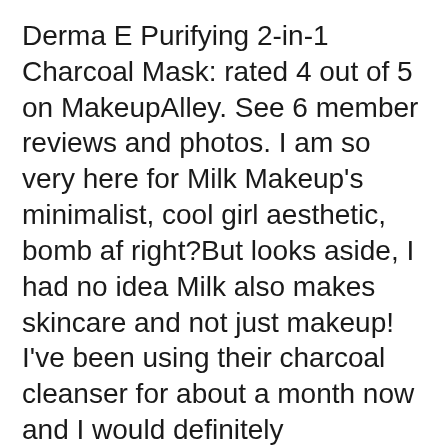Derma E Purifying 2-in-1 Charcoal Mask: rated 4 out of 5 on MakeupAlley. See 6 member reviews and photos. I am so very here for Milk Makeup’s minimalist, cool girl aesthetic, bomb af right?But looks aside, I had no idea Milk also makes skincare and not just makeup! I’ve been using their charcoal cleanser for about a month now and I would definitely recommend it for those who have combination or oily skin like myself.
Find all the natural, safe products you desire in our online health shop. Read more. I just purchased this absolutely wonderful DERMA E Purifying Gel Cleanser With Marine Algae and